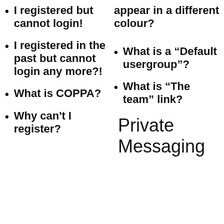I registered but cannot login!
appear in a different colour?
I registered in the past but cannot login any more?!
What is a “Default usergroup”?
What is “The team” link?
What is COPPA?
Why can’t I register?
Private Messaging